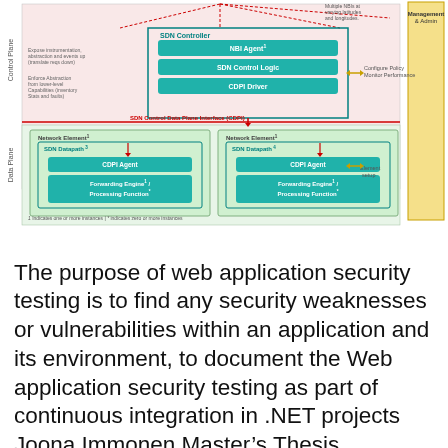[Figure (network-graph): SDN architecture diagram showing Control Plane and Data Plane. SDN Controller contains NBI Agent, SDN Control Logic, and CDPI Driver. Network Elements contain SDN Datapath with CDPI Agent and Forwarding Engine/Processing Function. Management & Admin panel on right with Configure Policy/Monitor Performance and Element Setup arrows. SDN Control Data Plane Interface (CDPI) separates planes. Footnotes: 1 indicates one or more instances, * indicates zero or more instances.]
The purpose of web application security testing is to find any security weaknesses or vulnerabilities within an application and its environment, to document the Web application security testing as part of continuous integration in .NET projects Joona Immonen Master’s Thesis December 2015 MasterBrłs Degree Programme in